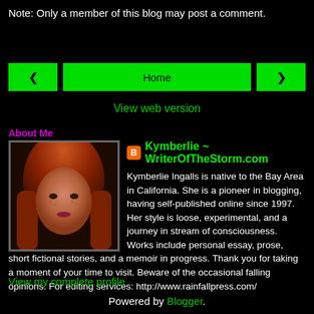Note: Only a member of this blog may post a comment.
[Figure (other): Navigation bar with left arrow button, Home button, and right arrow button, all green on black background]
View web version
About Me
[Figure (photo): Profile photo of Kymberlie Ingalls, a woman with red hair]
Kymberlie ~ WriterOfTheStorm.com
Kymberlie Ingalls is native to the Bay Area in California. She is a pioneer in blogging, having self-published online since 1997. Her style is loose, experimental, and a journey in stream of consciousness. Works include personal essay, prose, short fictional stories, and a memoir in progress. Thank you for taking a moment of your time to visit. Beware of the occasional falling opinions. For editing services: http://www.rainfallpress.com/
View my complete profile
Powered by Blogger.